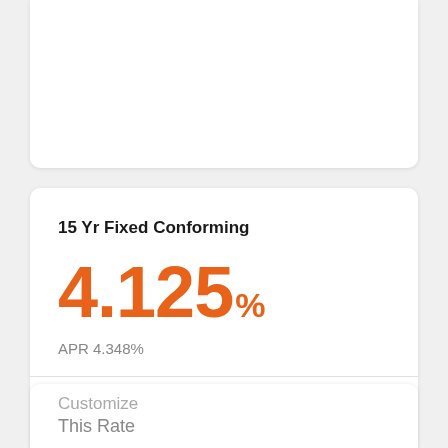15 Yr Fixed Conforming
4.125%
APR 4.348%
Customize your rate in just 60 seconds
Customize
This Rate